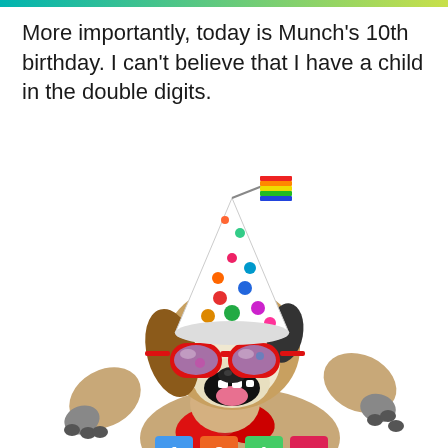More importantly, today is Munch’s 10th birthday. I can’t believe that I have a child in the double digits.
[Figure (photo): A Jack Russell Terrier dog wearing a colorful polka-dot party hat with a rainbow flag on top, red-framed sunglasses, and a red bow tie, with paws raised up in a celebratory pose, against a white background. Birthday blocks are partially visible at the bottom.]